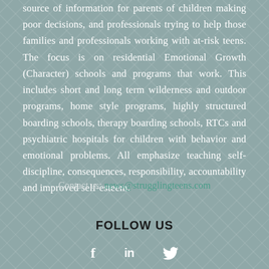source of information for parents of children making poor decisions, and professionals trying to help those families and professionals working with at-risk teens. The focus is on residential Emotional Growth (Character) schools and programs that work. This includes short and long term wilderness and outdoor programs, home style programs, highly structured boarding schools, therapy boarding schools, RTCs and psychiatric hospitals for children with behavior and emotional problems. All emphasize teaching self-discipline, consequences, responsibility, accountability and improved self-esteem.
Contact us: news@strugglingteens.com
FOLLOW US
[Figure (illustration): Social media icons: Facebook (f), LinkedIn (in), Twitter (bird icon)]